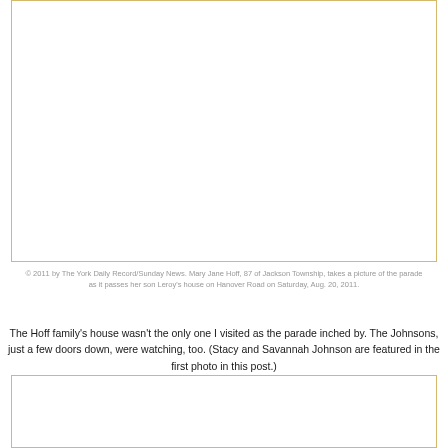[Figure (photo): Empty white photo box with gold border (top portion of page, photo content not visible in this crop)]
© 2011 by The York Daily Record/Sunday News. Mary Jane Hoff, 87 of Jackson Township, takes a picture of the parade as it passes her son Leroy's house on Hanover Road on Saturday, Aug. 20, 2011.
The Hoff family's house wasn't the only one I visited as the parade inched by. The Johnsons, just a few doors down, were watching, too. (Stacy and Savannah Johnson are featured in the first photo in this post.)
[Figure (photo): Empty white photo box with gold border (bottom portion of page, photo content not visible in this crop)]